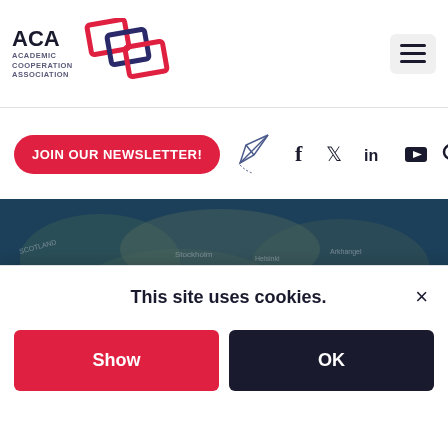[Figure (logo): ACA Academic Cooperation Association logo with interlocking diamond shapes in red and purple/dark blue]
[Figure (other): Hamburger menu icon (three horizontal lines) in a rounded rectangle button]
JOIN OUR NEWSLETTER!
[Figure (other): Paper plane icon with dotted curved line]
[Figure (other): Social media icons: Facebook (f), Twitter (bird), LinkedIn (in), YouTube (play button), Search (magnifying glass)]
[Figure (photo): Map of Northern Europe and Baltic region with countries labeled, teal/dark blue color overlay]
Home > Previous editions > Newsletter Edition 250 - 02/2022 >
This site uses cookies.
Show
OK